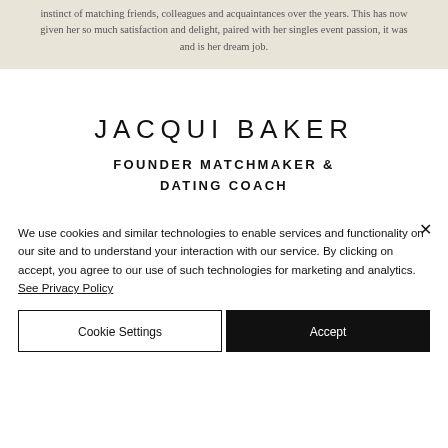instinct of matching friends, colleagues and acquaintances over the years. This has now given her so much satisfaction and delight, paired with her singles event passion, it was and is her dream job.
JACQUI BAKER
FOUNDER MATCHMAKER & DATING COACH
[Figure (photo): Black and white photo of Jacqui Baker, showing her head and upper body from above, with blurred background]
We use cookies and similar technologies to enable services and functionality on our site and to understand your interaction with our service. By clicking on accept, you agree to our use of such technologies for marketing and analytics. See Privacy Policy
Cookie Settings
Accept